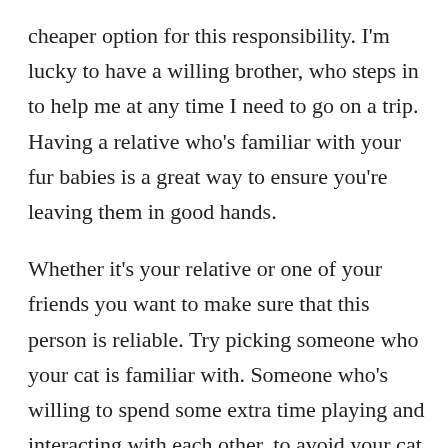cheaper option for this responsibility. I'm lucky to have a willing brother, who steps in to help me at any time I need to go on a trip. Having a relative who's familiar with your fur babies is a great way to ensure you're leaving them in good hands.
Whether it's your relative or one of your friends you want to make sure that this person is reliable. Try picking someone who your cat is familiar with. Someone who's willing to spend some extra time playing and interacting with each other, to avoid your cat feeling completely abandoned. Ask them to come over at least every two days to clean their litter and fill their automatic wet food feeder.